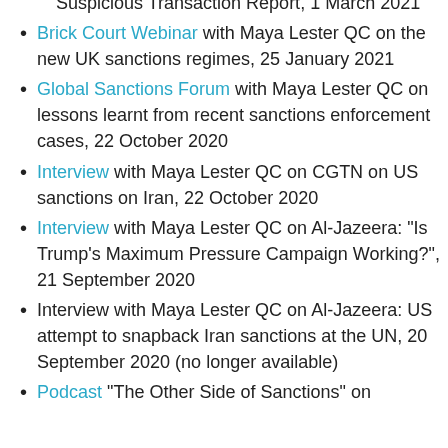Suspicious Transaction Report, 1 March 2021
Brick Court Webinar with Maya Lester QC on the new UK sanctions regimes, 25 January 2021
Global Sanctions Forum with Maya Lester QC on lessons learnt from recent sanctions enforcement cases, 22 October 2020
Interview with Maya Lester QC on CGTN on US sanctions on Iran, 22 October 2020
Interview with Maya Lester QC on Al-Jazeera: "Is Trump's Maximum Pressure Campaign Working?", 21 September 2020
Interview with Maya Lester QC on Al-Jazeera: US attempt to snapback Iran sanctions at the UN, 20 September 2020 (no longer available)
Podcast "The Other Side of Sanctions" on